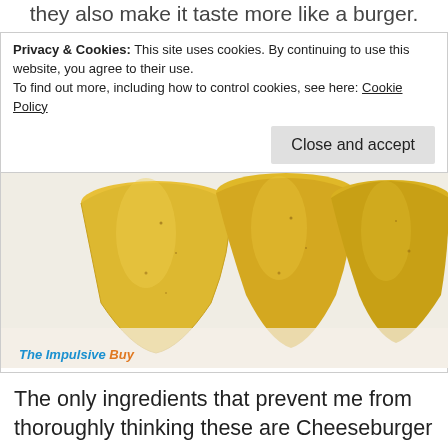they also make it taste more like a burger.
Privacy & Cookies: This site uses cookies. By continuing to use this website, you agree to their use.
To find out more, including how to control cookies, see here: Cookie Policy
Close and accept
[Figure (photo): Three yellow Pringles chips standing upright on a white surface, photographed close-up. Watermark reads 'The Impulsive Buy' in blue and orange text at bottom left.]
The only ingredients that prevent me from thoroughly thinking these are Cheeseburger Pringles are the cayenne and paprika, which do well to represent the chicken dish's spiciness. The mild heat doesn't instantly hit me. It takes